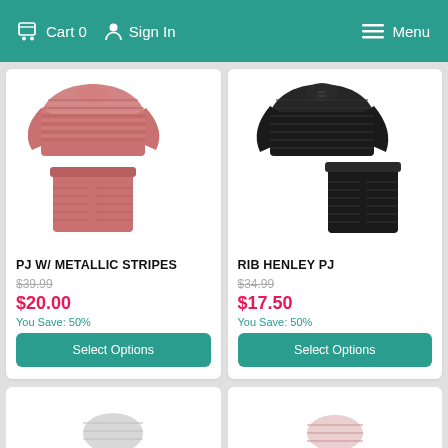Cart 0   Sign In   Menu
[Figure (photo): Pink ribbed pajama set with long-sleeve top and pants showing metallic stripes]
PJ W/ METALLIC STRIPES
$39.99
$20.00
You Save: 50%
Select Options
[Figure (photo): Black ribbed henley pajama set with long-sleeve top and pants]
RIB HENLEY PJ
$34.99
$17.50
You Save: 50%
Select Options
[Figure (photo): Partial view of a third product card at bottom left]
[Figure (photo): Partial view of a fourth product card at bottom right]